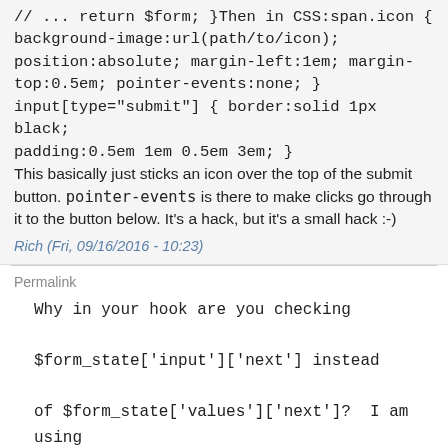// ... return $form; }Then in CSS:span.icon { background-image:url(path/to/icon); position:absolute; margin-left:1em; margin-top:0.5em; pointer-events:none; } input[type="submit"] { border:solid 1px black; padding:0.5em 1em 0.5em 3em; }This basically just sticks an icon over the top of the submit button. pointer-events is there to make clicks go through it to the button below. It's a hack, but it's a small hack :-)
Rich (Fri, 09/16/2016 - 10:23)
Permalink
Why in your hook are you checking $form_state['input']['next'] instead of $form_state['values']['next']?  I am using Drupal 7.73 and for my form, my buttons never